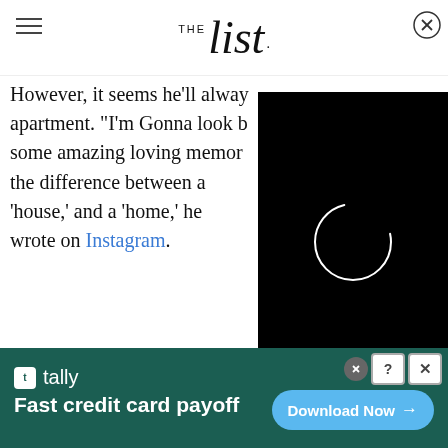THE list
However, it seems he'll always [remember the] apartment. "I'm Gonna look b[ack and have] some amazing loving memor[ies... I know] the difference between a 'house,' and a 'home,' he wrote on Instagram.
[Figure (screenshot): Black video player overlay with a white loading spinner circle in the center, and a close (X) button in the top-right corner.]
[Figure (screenshot): Tally app advertisement banner on dark teal background. Shows Tally logo and text 'Fast credit card payoff' with a 'Download Now' button on the right.]